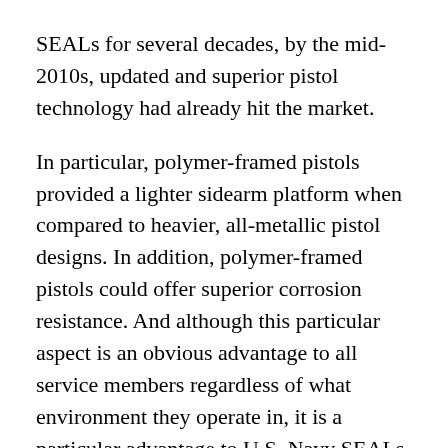SEALs for several decades, by the mid-2010s, updated and superior pistol technology had already hit the market.
In particular, polymer-framed pistols provided a lighter sidearm platform when compared to heavier, all-metallic pistol designs. In addition, polymer-framed pistols could offer superior corrosion resistance. And although this particular aspect is an obvious advantage to all service members regardless of what environment they operate in, it is a particular advantage to U.S. Navy SEALs, given their close affinity for aquatic operations in corrosive saltwater.